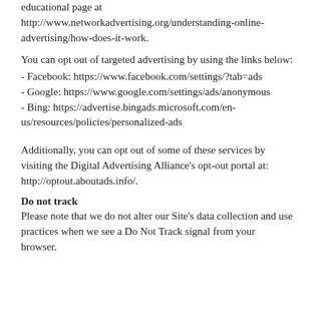educational page at http://www.networkadvertising.org/understanding-online-advertising/how-does-it-work.
You can opt out of targeted advertising by using the links below:
- Facebook: https://www.facebook.com/settings/?tab=ads
- Google: https://www.google.com/settings/ads/anonymous
- Bing: https://advertise.bingads.microsoft.com/en-us/resources/policies/personalized-ads
Additionally, you can opt out of some of these services by visiting the Digital Advertising Alliance’s opt-out portal at: http://optout.aboutads.info/.
Do not track
Please note that we do not alter our Site’s data collection and use practices when we see a Do Not Track signal from your browser.